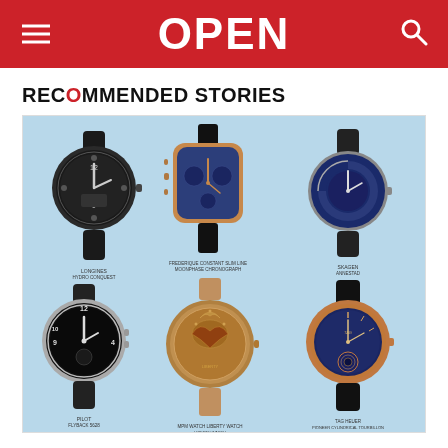OPEN
RECOMMENDED STORIES
[Figure (photo): Six luxury watches arranged in a 3x2 grid on a light blue background. Top row: black sport watch (Longines Hydro Conquest), rectangular rose gold and black watch (Frederique Constant Slim Line Moonphase), blue dial thin watch (Skagen Annestad). Bottom row: silver multi-dial field watch (Pilot Flyback), round bronze-toned watch with moon/star engraving (MPM Watch Liberty Watch), rose gold blue dial tourbillon watch (Tag Heuer Pioneer Cylindrical Tourbillon). Each watch has a small label beneath it.]